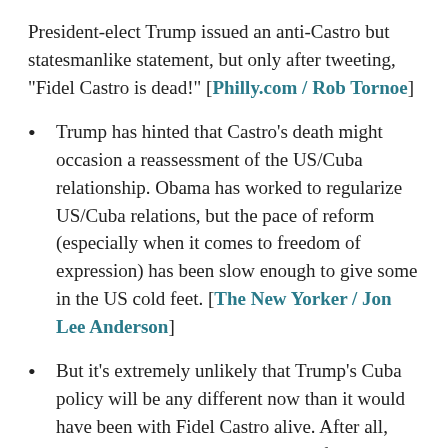President-elect Trump issued an anti-Castro but statesmanlike statement, but only after tweeting, "Fidel Castro is dead!" [Philly.com / Rob Tornoe]
Trump has hinted that Castro's death might occasion a reassessment of the US/Cuba relationship. Obama has worked to regularize US/Cuba relations, but the pace of reform (especially when it comes to freedom of expression) has been slow enough to give some in the US cold feet. [The New Yorker / Jon Lee Anderson]
But it's extremely unlikely that Trump's Cuba policy will be any different now than it would have been with Fidel Castro alive. After all, Castro had abdicated the running of the country